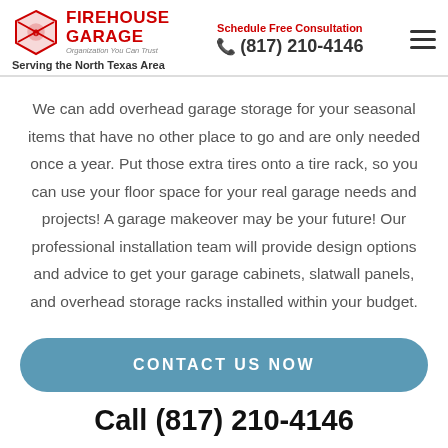FIREHOUSE GARAGE - Organization You Can Trust | Schedule Free Consultation | (817) 210-4146 | Serving the North Texas Area
We can add overhead garage storage for your seasonal items that have no other place to go and are only needed once a year. Put those extra tires onto a tire rack, so you can use your floor space for your real garage needs and projects! A garage makeover may be your future! Our professional installation team will provide design options and advice to get your garage cabinets, slatwall panels, and overhead storage racks installed within your budget.
CONTACT US NOW
Call (817) 210-4146